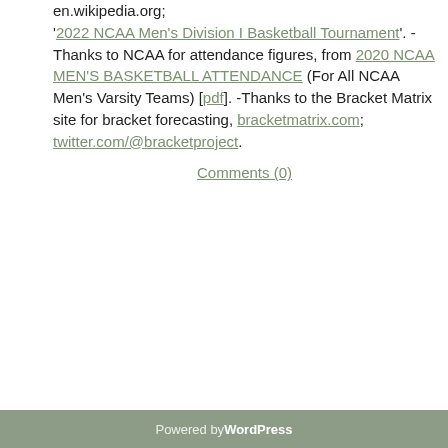en.wikipedia.org; '2022 NCAA Men's Division I Basketball Tournament'. -Thanks to NCAA for attendance figures, from 2020 NCAA MEN'S BASKETBALL ATTENDANCE (For All NCAA Men's Varsity Teams) [pdf]. -Thanks to the Bracket Matrix site for bracket forecasting, bracketmatrix.com; twitter.com/@bracketproject.
Comments (0)
Powered by WordPress